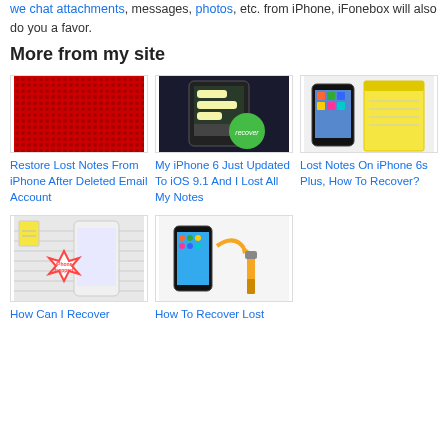we chat attachments, messages, photos, etc. from iPhone, iFonebox will also do you a favor.
More from my site
[Figure (photo): Red dotted pattern background thumbnail]
[Figure (photo): iPhone showing messages with green recover button]
[Figure (photo): iPhone next to yellow notepad illustration]
Restore Lost Notes From iPhone After Deleted Email Account
My iPhone 6 Just Updated To iOS 9.1 And I Lost All My Notes
Lost Notes On iPhone 6s Plus, How To Recover?
[Figure (photo): iPhone with notes recovery illustration and starburst graphic]
[Figure (photo): iPhone with arrow and paint brush, recover lost notes illustration]
How Can I Recover
How To Recover Lost